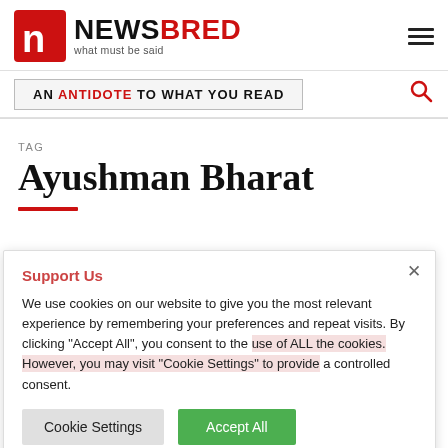NEWSBRED — what must be said
AN ANTIDOTE TO WHAT YOU READ
TAG
Ayushman Bharat
Support Us
We use cookies on our website to give you the most relevant experience by remembering your preferences and repeat visits. By clicking "Accept All", you consent to the use of ALL the cookies. However, you may visit "Cookie Settings" to provide a controlled consent.
Cookie Settings
Accept All